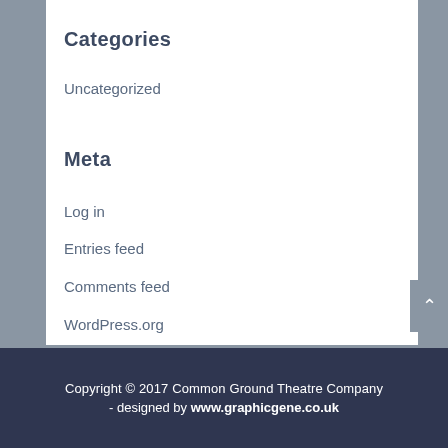Categories
Uncategorized
Meta
Log in
Entries feed
Comments feed
WordPress.org
Copyright © 2017 Common Ground Theatre Company  -  designed by www.graphicgene.co.uk